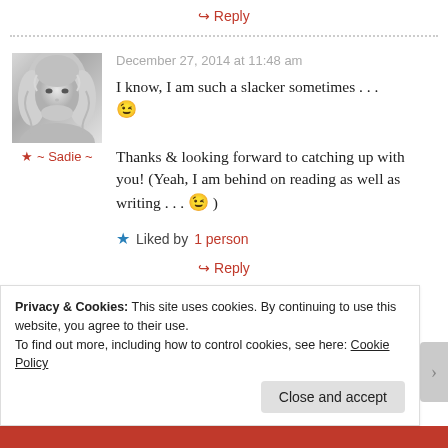↪ Reply
[Figure (photo): Avatar photo of Sadie - grayscale portrait of a young woman with curly blonde hair]
★ ~ Sadie ~
December 27, 2014 at 11:48 am
I know, I am such a slacker sometimes . . . 😉 Thanks & looking forward to catching up with you! (Yeah, I am behind on reading as well as writing . . . 😉 )
★ Liked by 1 person
↪ Reply
Privacy & Cookies: This site uses cookies. By continuing to use this website, you agree to their use. To find out more, including how to control cookies, see here: Cookie Policy
Close and accept